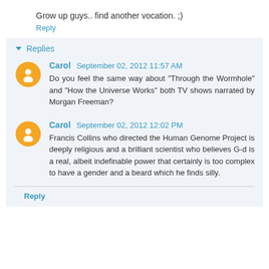Grow up guys.. find another vocation. ;)
Reply
Replies
Carol  September 02, 2012 11:57 AM
Do you feel the same way about "Through the Wormhole" and "How the Universe Works" both TV shows narrated by Morgan Freeman?
Carol  September 02, 2012 12:02 PM
Francis Collins who directed the Human Genome Project is deeply religious and a brilliant scientist who believes G-d is a real, albeit indefinable power that certainly is too complex to have a gender and a beard which he finds silly.
Reply